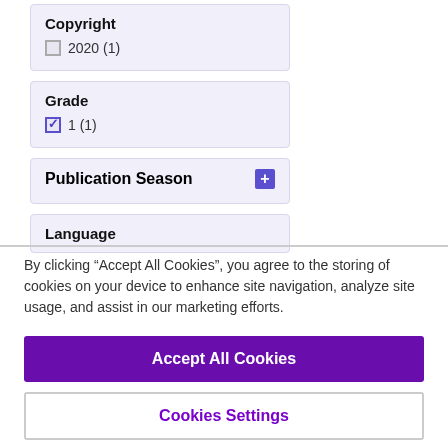Copyright
2020 (1)
Grade
1 (1)
Publication Season
Language
By clicking “Accept All Cookies”, you agree to the storing of cookies on your device to enhance site navigation, analyze site usage, and assist in our marketing efforts.
Accept All Cookies
Cookies Settings